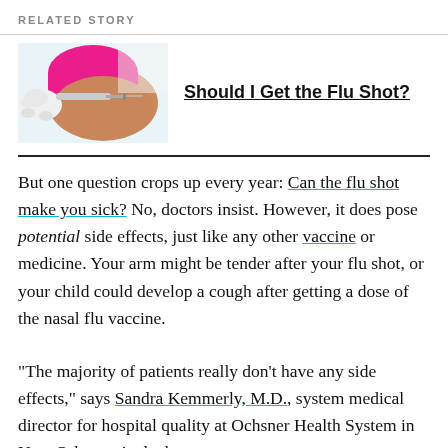RELATED STORY
[Figure (photo): A healthcare worker administering a flu shot injection into a person's arm, wearing a pink sleeve. The provider wears white medical gloves.]
Should I Get the Flu Shot?
But one question crops up every year: Can the flu shot make you sick? No, doctors insist. However, it does pose potential side effects, just like any other vaccine or medicine. Your arm might be tender after your flu shot, or your child could develop a cough after getting a dose of the nasal flu vaccine.
“The majority of patients really don’t have any side effects,” says Sandra Kemmerly, M.D., system medical director for hospital quality at Ochsner Health System in New Orleans. And when